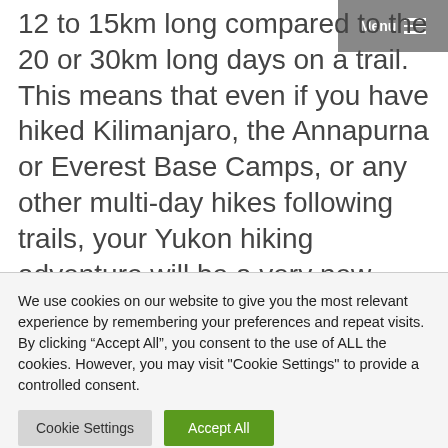12 to 15km long compared to the 20 or 30km long days on a trail. This means that even if you have hiked Kilimanjaro, the Annapurna or Everest Base Camps, or any other multi-day hikes following trails, your Yukon hiking adventure will be a very new experience.
We use cookies on our website to give you the most relevant experience by remembering your preferences and repeat visits. By clicking “Accept All”, you consent to the use of ALL the cookies. However, you may visit "Cookie Settings" to provide a controlled consent.